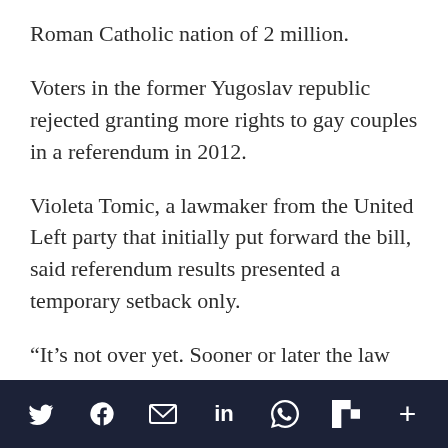Roman Catholic nation of 2 million.
Voters in the former Yugoslav republic rejected granting more rights to gay couples in a referendum in 2012.
Violeta Tomic, a lawmaker from the United Left party that initially put forward the bill, said referendum results presented a temporary setback only.
“It’s not over yet. Sooner or later the law will be accepted,” she said.
[Figure (other): Social media sharing toolbar with icons for Twitter, Facebook, Email, LinkedIn, WhatsApp, Flipboard, and a share/more button on a dark navy background.]